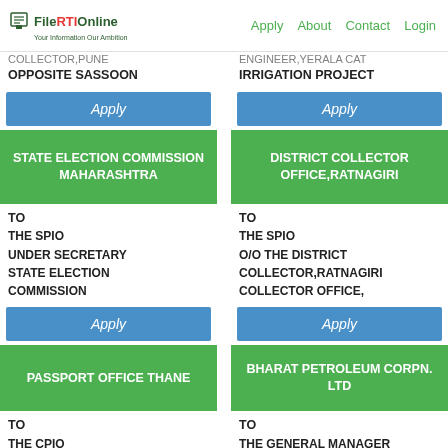File RTI Online — Your Information Our Ambition | Apply  About  Contact  Login
COLLECTOR,PUNE
OPPOSITE SASSOON
ENGINEER,YERALA CAT
IRRIGATION PROJECT
Apply
Apply
STATE ELECTION COMMISSION
MAHARASHTRA
DISTRICT COLLECTOR OFFICE,RATNAGIRI
TO
THE SPIO
UNDER SECRETARY
STATE ELECTION COMMISSION
TO
THE SPIO
O/O THE DISTRICT COLLECTOR,RATNAGIRI
COLLECTOR OFFICE,
Apply
Apply
PASSPORT OFFICE THANE
BHARAT PETROLEUM CORPN. LTD
TO
THE CPIO
TO
THE GENERAL MANAGER